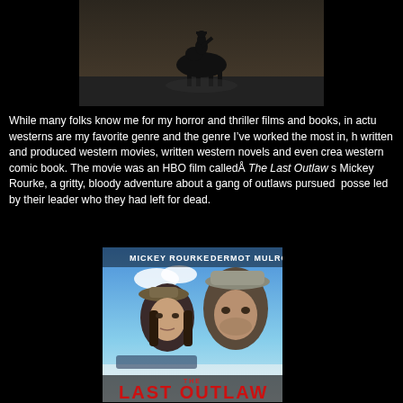[Figure (photo): A dark, moody scene of a person on horseback silhouetted against a dusty background]
While many folks know me for my horror and thriller films and books, in actuality westerns are my favorite genre and the genre I've worked the most in, I've written and produced western movies, written western novels and even created a western comic book. The movie was an HBO film called The Last Outlaw starring Mickey Rourke, a gritty, bloody adventure about a gang of outlaws pursued by a posse led by their leader who they had left for dead.
[Figure (photo): Movie poster for The Last Outlaw featuring Mickey Rourke and Dermot Mulroney. Two men wearing cowboy hats with text 'MICKEY ROURKE DERMOT MULRONEY' at top and 'THE LAST OUTLAW' in large red letters at bottom.]